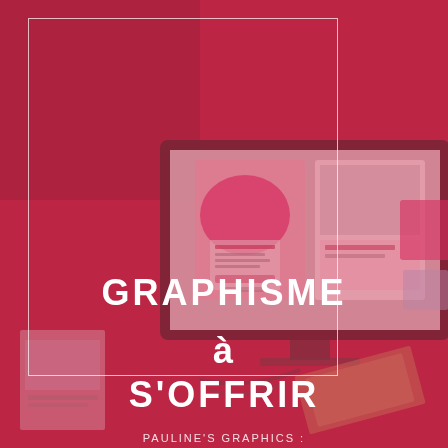[Figure (photo): Dark red/crimson overlaid photo of a graphic design workspace showing an iMac computer displaying design projects including pink-themed posters/flyers, with papers and other items on the desk. A rectangular white border frame overlays the upper portion of the image.]
GRAPHISME
à
S'OFFRIR
PAULINE'S GRAPHICS :